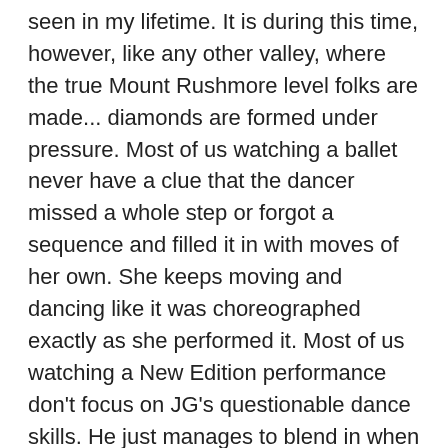seen in my lifetime. It is during this time, however, like any other valley, where the true Mount Rushmore level folks are made... diamonds are formed under pressure. Most of us watching a ballet never have a clue that the dancer missed a whole step or forgot a sequence and filled it in with moves of her own. She keeps moving and dancing like it was choreographed exactly as she performed it. Most of us watching a New Edition performance don't focus on JG's questionable dance skills. He just manages to blend in when he's dancing because he's gonna stand out when he sings … so I fully expect for folks to remain fucking professional during this time, even through lack, flaws, and frustration.